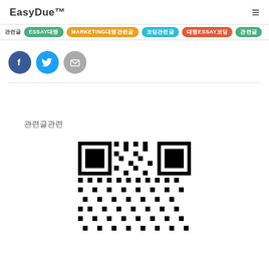EasyDue™
관련글 ESSAY대행 MARKETING대행관련글 코딩관련글 대행ESSAY코딩 관련글
[Figure (infographic): Three social sharing icons: Facebook (blue circle with f), Twitter (light blue circle with bird), Email (gray circle with envelope)]
관련글관련
[Figure (other): QR code image in black and white]